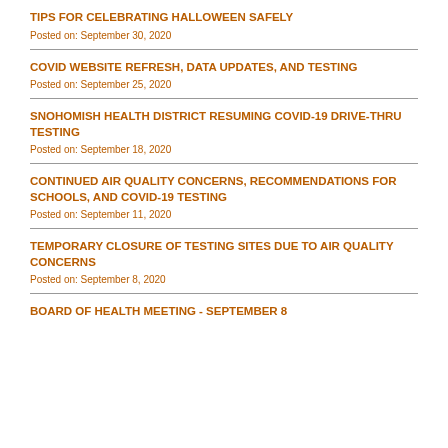TIPS FOR CELEBRATING HALLOWEEN SAFELY
Posted on: September 30, 2020
COVID WEBSITE REFRESH, DATA UPDATES, AND TESTING
Posted on: September 25, 2020
SNOHOMISH HEALTH DISTRICT RESUMING COVID-19 DRIVE-THRU TESTING
Posted on: September 18, 2020
CONTINUED AIR QUALITY CONCERNS, RECOMMENDATIONS FOR SCHOOLS, AND COVID-19 TESTING
Posted on: September 11, 2020
TEMPORARY CLOSURE OF TESTING SITES DUE TO AIR QUALITY CONCERNS
Posted on: September 8, 2020
BOARD OF HEALTH MEETING - SEPTEMBER 8